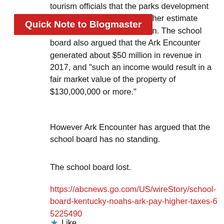tourism officials that the parks development costs were $73 million. Another estimate presented by said $90 million. The school board also argued that the Ark Encounter generated about $50 million in revenue in 2017, and "such an income would result in a fair market value of the property of $130,000,000 or more."
Quick Note to Blogmaster
However Ark Encounter has argued that the school board has no standing.
The school board lost.
https://abcnews.go.com/US/wireStory/school-board-kentucky-noahs-ark-pay-higher-taxes-65225490
Like